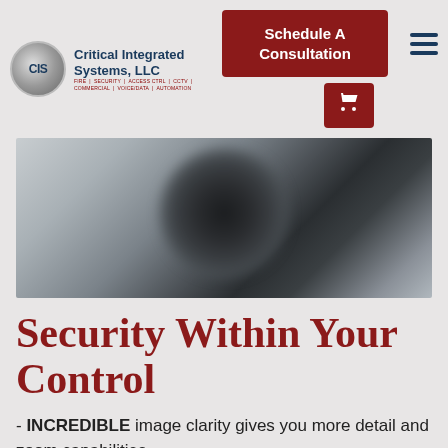[Figure (logo): CIS - Critical Integrated Systems, LLC logo with silver circular emblem and company name]
[Figure (other): Dark red 'Schedule A Consultation' button]
[Figure (other): Dark red shopping cart icon button]
[Figure (other): Hamburger menu icon (three horizontal lines)]
[Figure (photo): Close-up blurred security camera lens, dark center with grey/blue background]
Security Within Your Control
- INCREDIBLE image clarity gives you more detail and zoom capabilities.